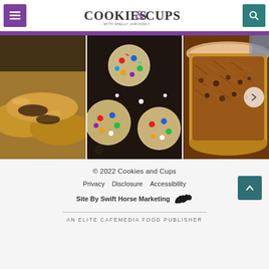Cookies & Cups with Shelly Jaronsky
[Figure (photo): Three food photos side by side: left - sliced savory pastry rolls with meat filling, center - M&M cookies on dark background, right - bowl of meat pasta dish. A next arrow button overlays the right side.]
© 2022 Cookies and Cups
Privacy   Disclosure   Accessibility
Site By Swift Horse Marketing
AN ELITE CAFEMEDIA FOOD PUBLISHER